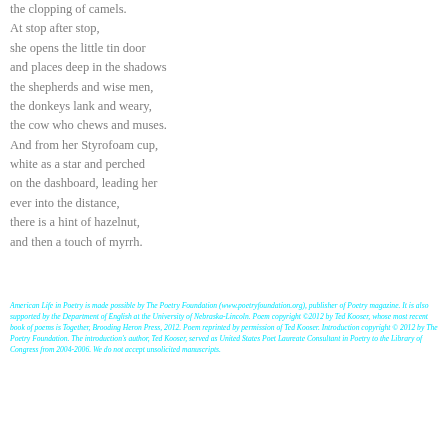the clopping of camels.
At stop after stop,
she opens the little tin door
and places deep in the shadows
the shepherds and wise men,
the donkeys lank and weary,
the cow who chews and muses.
And from her Styrofoam cup,
white as a star and perched
on the dashboard, leading her
ever into the distance,
there is a hint of hazelnut,
and then a touch of myrrh.
American Life in Poetry is made possible by The Poetry Foundation (www.poetryfoundation.org), publisher of Poetry magazine. It is also supported by the Department of English at the University of Nebraska-Lincoln. Poem copyright ©2012 by Ted Kooser, whose most recent book of poems is Together, Brooding Heron Press, 2012. Poem reprinted by permission of Ted Kooser. Introduction copyright © 2012 by The Poetry Foundation. The introduction's author, Ted Kooser, served as United States Poet Laureate Consultant in Poetry to the Library of Congress from 2004-2006. We do not accept unsolicited manuscripts.